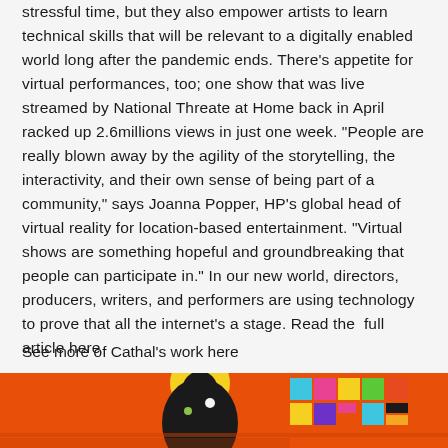stressful time, but they also empower artists to learn technical skills that will be relevant to a digitally enabled world long after the pandemic ends. There’s appetite for virtual performances, too; one show that was live streamed by National Threate at Home back in April racked up 2.6millions views in just one week. “People are really blown away by the agility of the storytelling, the interactivity, and their own sense of being part of a community,” says Joanna Popper, HP’s global head of virtual reality for location-based entertainment. “Virtual shows are something hopeful and groundbreaking that people can participate in.” In our new world, directors, producers, writers, and performers are using technology to prove that all the internet’s a stage. Read the  full article here
See more of Cathal’s work here
[Figure (illustration): Colorful illustration showing a silhouette of a person from behind against an orange/red background with colorful geometric shapes and patterns]